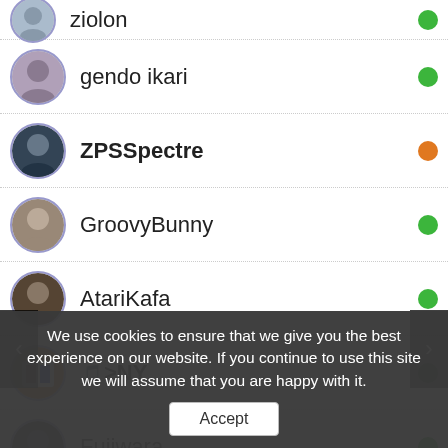ziolon — green
gendo ikari — green
ZPSSpectre — orange
GroovyBunny — green
AtariKafa — green
🎵>NY — green
Fujiwara — green
bbobson7 — green
meep — orange
We use cookies to ensure that we give you the best experience on our website. If you continue to use this site we will assume that you are happy with it.
Accept